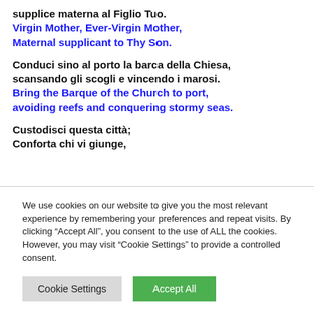supplice materna al Figlio Tuo.
Virgin Mother, Ever-Virgin Mother,
Maternal supplicant to Thy Son.
Conduci sino al porto la barca della Chiesa,
scansando gli scogli e vincendo i marosi.
Bring the Barque of the Church to port,
avoiding reefs and conquering stormy seas.
Custodisci questa città;
Conforta chi vi giunge,
We use cookies on our website to give you the most relevant experience by remembering your preferences and repeat visits. By clicking “Accept All”, you consent to the use of ALL the cookies. However, you may visit "Cookie Settings" to provide a controlled consent.